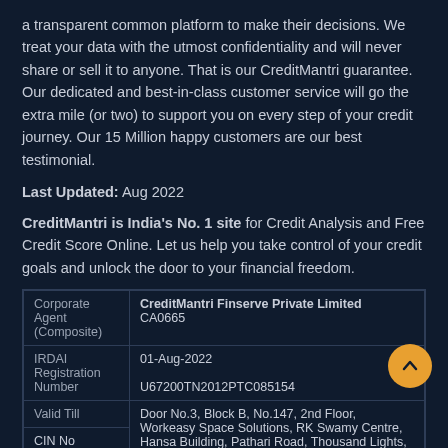a transparent common platform to make their decisions. We treat your data with the utmost confidentiality and will never share or sell it to anyone. That is our CreditMantri guarantee. Our dedicated and best-in-class customer service will go the extra mile (or two) to support you on every step of your credit journey. Our 15 Million happy customers are our best testimonial.
Last Updated: Aug 2022
CreditMantri is India's No. 1 site for Credit Analysis and Free Credit Score Online. Let us help you take control of your credit goals and unlock the door to your financial freedom.
|  |  |
| --- | --- |
| Corporate Agent (Composite) | CreditMantri Finserve Private Limited
CA0665 |
| IRDAI Registration Number | 01-Aug-2022
U67200TN2012PTC085154 |
| Valid Till | Door No.3, Block B, No.147, 2nd Floor, Workeasy Space Solutions, RK Swamy Centre, Hansa Building, Pathari Road, Thousand Lights, Chennai - 600006 |
| CIN No |  |
| Address |  |